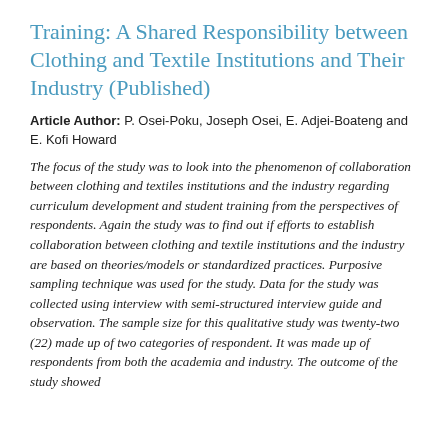Training: A Shared Responsibility between Clothing and Textile Institutions and Their Industry (Published)
Article Author: P. Osei-Poku, Joseph Osei, E. Adjei-Boateng and E. Kofi Howard
The focus of the study was to look into the phenomenon of collaboration between clothing and textiles institutions and the industry regarding curriculum development and student training from the perspectives of respondents. Again the study was to find out if efforts to establish collaboration between clothing and textile institutions and the industry are based on theories/models or standardized practices. Purposive sampling technique was used for the study. Data for the study was collected using interview with semi-structured interview guide and observation. The sample size for this qualitative study was twenty-two (22) made up of two categories of respondent. It was made up of respondents from both the academia and industry. The outcome of the study showed